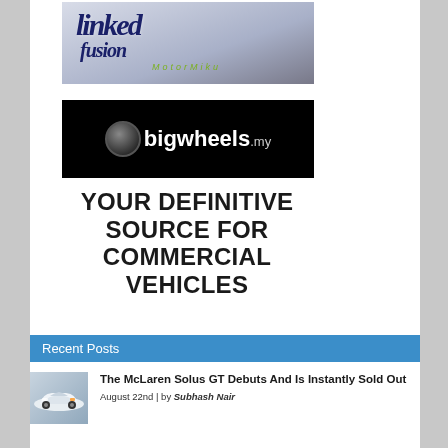[Figure (logo): Linked Fusion / MotorMiku automotive website banner logo with stylized italic font and green subtitle text on grey gradient background]
[Figure (logo): bigwheels.my logo — white bold text on black background with circular icon, tagline YOUR DEFINITIVE SOURCE FOR COMMERCIAL VEHICLES]
YOUR DEFINITIVE SOURCE FOR COMMERCIAL VEHICLES
Recent Posts
[Figure (photo): Small thumbnail image of a white McLaren Solus GT supercar on a grey background]
The McLaren Solus GT Debuts And Is Instantly Sold Out
August 22nd | by Subhash Nair